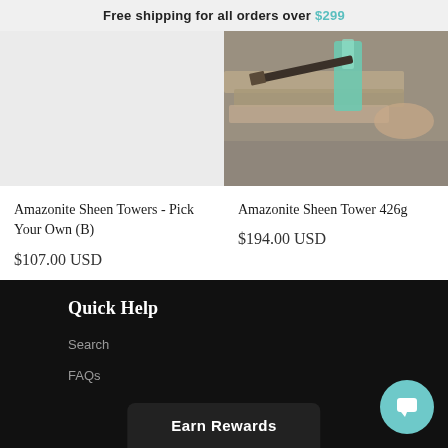Free shipping for all orders over $299
Amazonite Sheen Towers - Pick Your Own (B)
$107.00 USD
[Figure (photo): Product photo of Amazonite Sheen Towers - blank/light gray placeholder image]
Amazonite Sheen Tower 426g
$194.00 USD
[Figure (photo): Product photo of Amazonite Sheen Tower 426g showing stones and teal crystal on wooden surface]
Quick Help
Search
FAQs
Earn Rewards